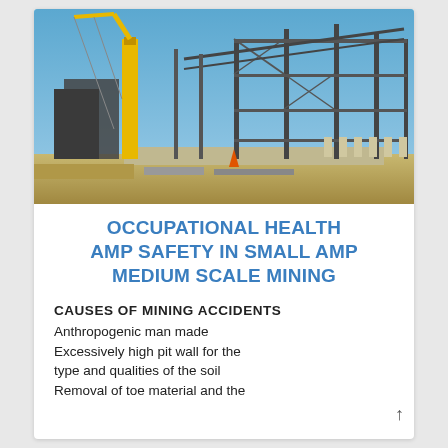[Figure (photo): Construction site with steel frame structure being erected, crane visible on left, blue sky background]
OCCUPATIONAL HEALTH AMP SAFETY IN SMALL AMP MEDIUM SCALE MINING
CAUSES OF MINING ACCIDENTS
Anthropogenic man made
Excessively high pit wall for the type and qualities of the soil
Removal of toe material and the